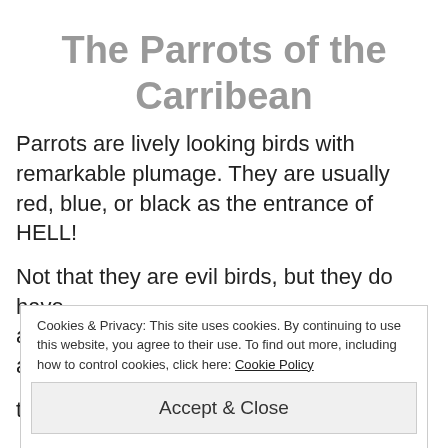The Parrots of the Carribean
Parrots are lively looking birds with remarkable plumage. They are usually red, blue, or black as the entrance of HELL!
Not that they are evil birds, but they do have a capacity to, you know, be a bit annoying...
they can learn a few obscenities. However, it's
Cookies & Privacy: This site uses cookies. By continuing to use this website, you agree to their use. To find out more, including how to control cookies, click here: Cookie Policy
Accept & Close